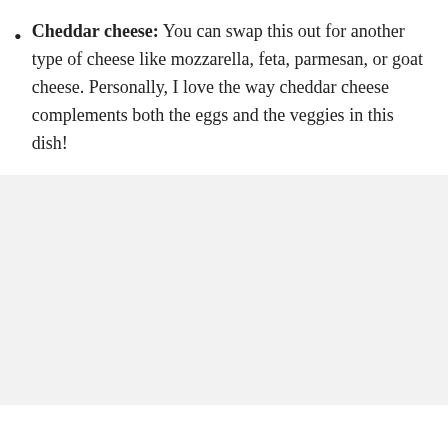Cheddar cheese: You can swap this out for another type of cheese like mozzarella, feta, parmesan, or goat cheese. Personally, I love the way cheddar cheese complements both the eggs and the veggies in this dish!
[Figure (photo): A light gray/off-white rectangular image placeholder area occupying the lower portion of the page.]